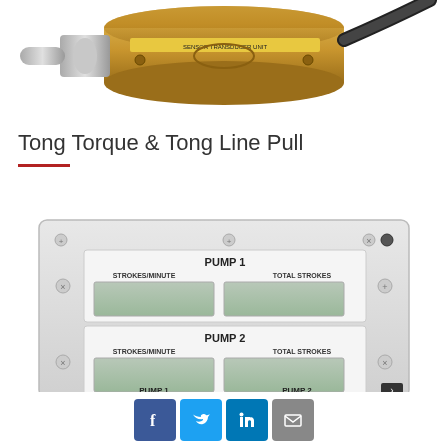[Figure (photo): Close-up photo of a bronze/gold cylindrical sensor or transducer with a cable attached, white background]
Tong Torque & Tong Line Pull
[Figure (photo): Photo of a gray metal panel unit with two pump displays: PUMP 1 and PUMP 2, each showing STROKES/MINUTE and TOTAL STROKES LCD readout windows. Below the panel shows PUMP 1 and PUMP 2 labels.]
Facebook | Twitter | LinkedIn | Email share buttons